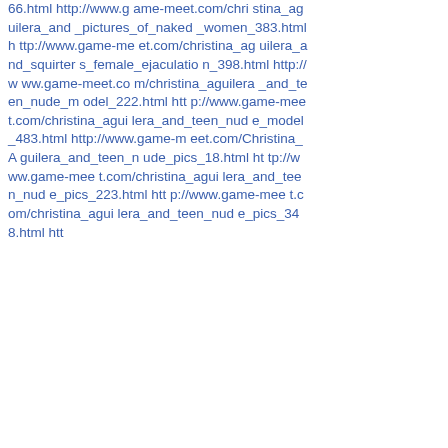66.html http://www.game-meet.com/christina_aguilera_and_pictures_of_naked_women_383.html http://www.game-meet.com/christina_aguilera_and_squirters_female_ejaculation_398.html http://www.game-meet.com/christina_aguilera_and_teen_nude_model_222.html http://www.game-meet.com/christina_aguilera_and_teen_nude_model_483.html http://www.game-meet.com/Christina_Aguilera_and_teen_nude_pics_18.html http://www.game-meet.com/christina_aguilera_and_teen_nude_pics_223.html http://www.game-meet.com/christina_aguilera_and_teen_nude_pics_348.html htt